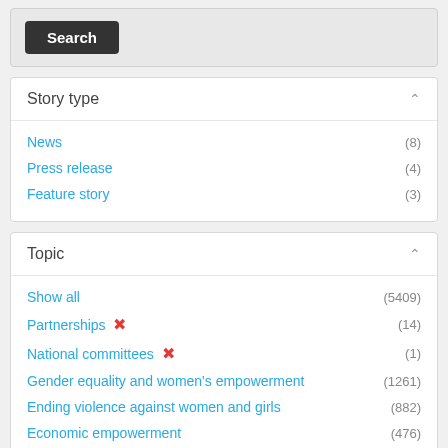Search
Story type
News (8)
Press release (4)
Feature story (3)
Topic
Show all (5409)
Partnerships ✕ (14)
National committees ✕ (1)
Gender equality and women's empowerment (1261)
Ending violence against women and girls (882)
Economic empowerment (476)
Human rights (247)